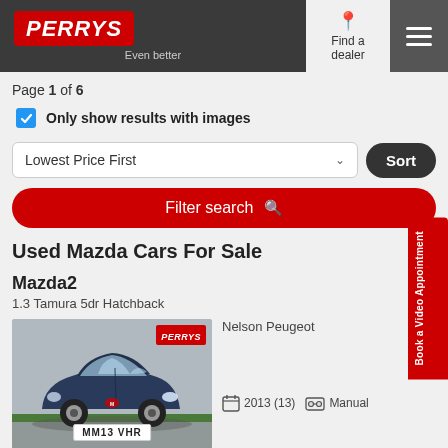PERRYS - Even better | Find a dealer
Page 1 of 6
Only show results with images
Lowest Price First | Sort
Filter search
Used Mazda Cars For Sale
Mazda2 | £5,
1.3 Tamura 5dr Hatchback
[Figure (photo): Blue Mazda2 hatchback car with registration plate MM13 VHR, Perrys logo in top right corner]
Nelson Peugeot
2013 (13) | Manual